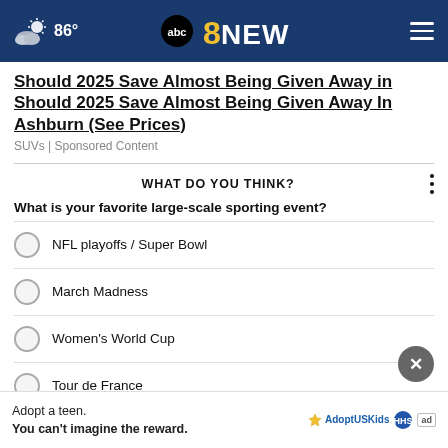86° — ABC 8 NEWS
Should 2025 Save Almost Being Given Away in Ashburn (See Prices)
SUVs | Sponsored Content
WHAT DO YOU THINK?
What is your favorite large-scale sporting event?
NFL playoffs / Super Bowl
March Madness
Women's World Cup
Tour de France
Adopt a teen. You can't imagine the reward. — AdoptUSKids